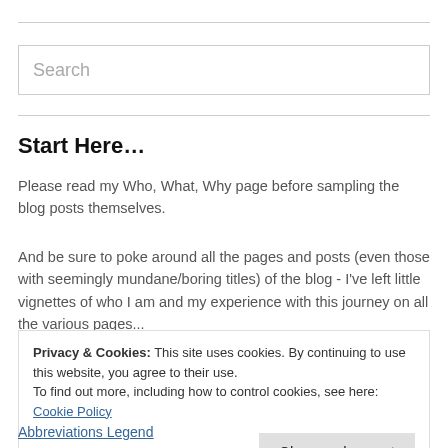[Figure (other): Search input box with placeholder text 'Search']
Start Here…
Please read my Who, What, Why page before sampling the blog posts themselves.
And be sure to poke around all the pages and posts (even those with seemingly mundane/boring titles) of the blog - I've left little vignettes of who I am and my experience with this journey on all the various pages...
Privacy & Cookies: This site uses cookies. By continuing to use this website, you agree to their use.
To find out more, including how to control cookies, see here: Cookie Policy
Abbreviations Legend